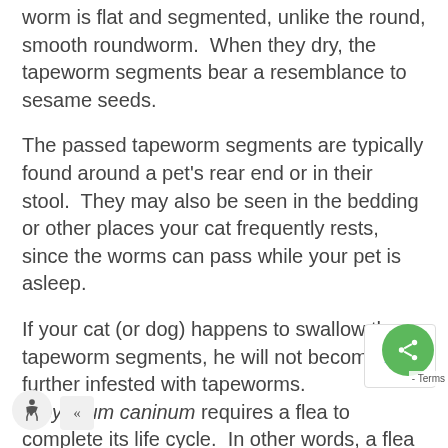worm is flat and segmented, unlike the round, smooth roundworm.  When they dry, the tapeworm segments bear a resemblance to sesame seeds.
The passed tapeworm segments are typically found around a pet's rear end or in their stool.  They may also be seen in the bedding or other places your cat frequently rests, since the worms can pass while your pet is asleep.
If your cat (or dog) happens to swallow these tapeworm segments, he will not become further infested with tapeworms. Dipylidium caninum requires a flea to complete its life cycle.  In other words, a flea